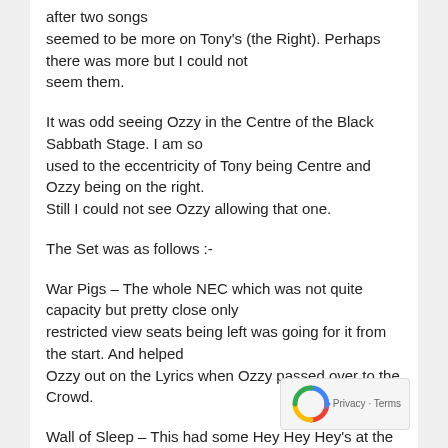after two songs
seemed to be more on Tony's (the Right). Perhaps there was more but I could not
seem them.
It was odd seeing Ozzy in the Centre of the Black Sabbath Stage. I am so
used to the eccentricity of Tony being Centre and Ozzy being on the right.
Still I could not see Ozzy allowing that one.
The Set was as follows :-
War Pigs – The whole NEC which was not quite capacity but pretty close only
restricted view seats being left was going for it from the start. And helped
Ozzy out on the Lyrics when Ozzy passed over to the Crowd.
Wall of Sleep – This had some Hey Hey Hey's at the en…